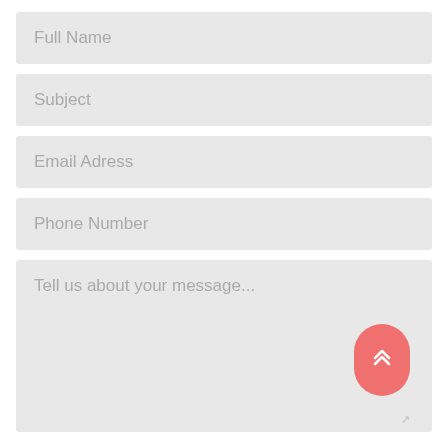Full Name
Subject
Email Adress
Phone Number
Tell us about your message...